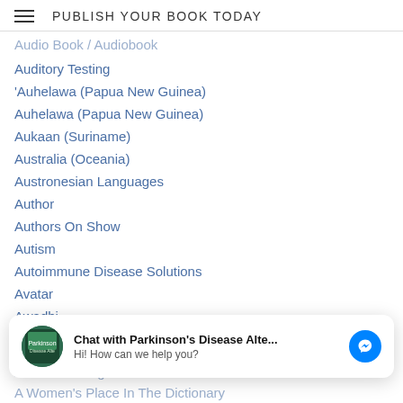PUBLISH YOUR BOOK TODAY
Audio Book / Audiobook
Auditory Testing
'Auhelawa (Papua New Guinea)
Auhelawa (Papua New Guinea)
Aukaan (Suriname)
Australia (Oceania)
Austronesian Languages
Author
Authors On Show
Autism
Autoimmune Disease Solutions
Avatar
Awadhi
Awakenings Peace Dictionary Language And The Mind
[Figure (screenshot): Chat widget overlay: avatar with Parkinson's Disease Alte book cover, text 'Chat with Parkinson's Disease Alte...' and 'Hi! How can we help you?', and Messenger blue icon]
Award Winning Poet
A Women's Place In The Dictionary